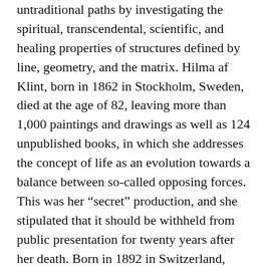untraditional paths by investigating the spiritual, transcendental, scientific, and healing properties of structures defined by line, geometry, and the matrix. Hilma af Klint, born in 1862 in Stockholm, Sweden, died at the age of 82, leaving more than 1,000 paintings and drawings as well as 124 unpublished books, in which she addresses the concept of life as an evolution towards a balance between so-called opposing forces. This was her “secret” production, and she stipulated that it should be withheld from public presentation for twenty years after her death. Born in 1892 in Switzerland, Emma Kunz too wrote in her publication conveying her world-view in which art, nature, and life are tightly interwoven: “My pictures are for the twenty-first century.” Her legacy encompasses a large spectrum: she was a powerful healer and an artist who created hundreds of drawings that she used during therapy experimenting with telepathy and radiesthesia